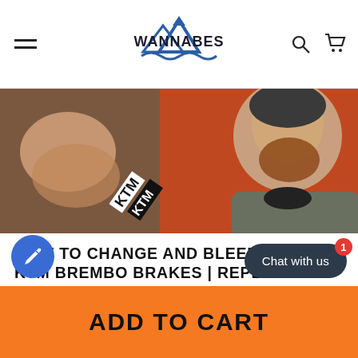WannaBes - navigation bar with hamburger menu, logo, search and cart icons
[Figure (photo): Hero image showing a person working on a KTM motorcycle brake system with orange background and KTM branding visible]
HOW TO CHANGE AND BLEED FRONT KTM BREMBO BRAKES | REPLACE BRAKE PADS AND BRAKE FLUID
As they say, brakes only slow you down, but putting fresh pads on your machine shouldn't cost you too much time. If you have a KTM and need to replace your worn pads
ADD TO CART